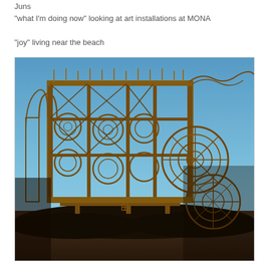Juns
“what I’m doing now” looking at art installations at MONA
“joy” living near the beach
[Figure (photo): Large elaborate metal art installation with intricate wrought-iron or steel lattice framework, featuring gears, spirals, and decorative Victorian-style metalwork structures set against a blue sky. The structure appears to be at MONA (Museum of Old and New Art).]